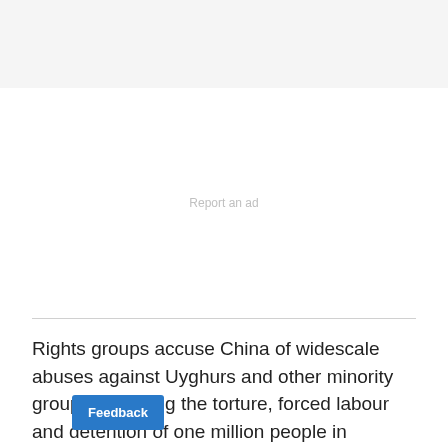[Figure (other): Advertisement area with 'Report an ad' link]
Rights groups accuse China of widescale abuses against Uyghurs and other minority groups, including the torture, forced labour and detention of one million people in internment camps. China says the camps are ation and training facilities and denies any
Feedback